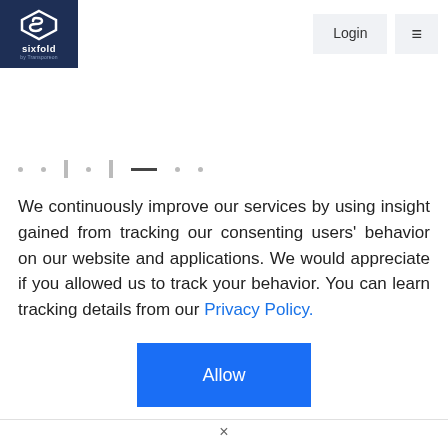[Figure (logo): Sixfold by Transporeon logo — white hexagon S on dark navy background, with text 'sixfold' and 'by Transporeon' below]
Login  ≡
· · | · | — · ·
We continuously improve our services by using insight gained from tracking our consenting users' behavior on our website and applications. We would appreciate if you allowed us to track your behavior. You can learn tracking details from our Privacy Policy.
Allow